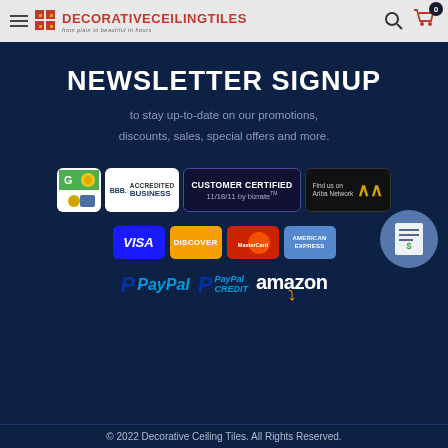DecorativeCeilingTiles — from plain to beautiful in hours
NEWSLETTER SIGNUP
to stay up-to-date on our promotions, discounts, sales, special offers and more.
[Figure (logo): Trust badges: Google rating, BBB Accredited Business, Customer Certified 11/18/11 by Bizrate, Find us on Ariba Network]
[Figure (logo): Payment method icons: Visa, Discover, MasterCard, American Express, PayPal, PayPal Credit, Amazon]
© 2022 Decorative Ceiling Tiles. All Rights Reserved.